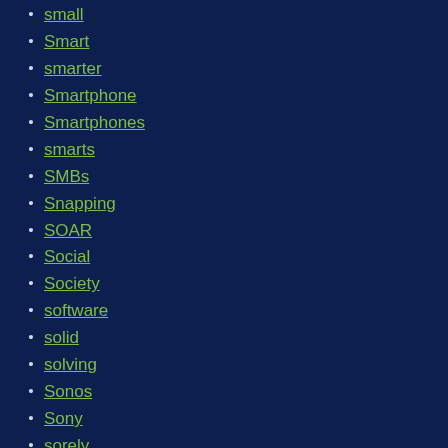small
Smart
smarter
Smartphone
Smartphones
smarts
SMBs
Snapping
SOAR
Social
Society
software
solid
solving
Sonos
Sony
sorely
sorting
soso
sound
source
Space
spacecraft
SpaceX